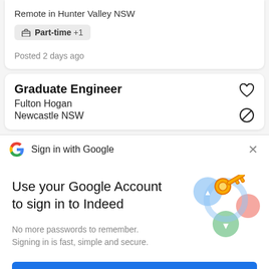Remote in Hunter Valley NSW
Part-time +1
Posted 2 days ago
Graduate Engineer
Fulton Hogan
Newcastle NSW
Sign in with Google
Use your Google Account to sign in to Indeed
No more passwords to remember. Signing in is fast, simple and secure.
[Figure (illustration): Google sign-in illustration with a key and colorful circular icons]
Continue